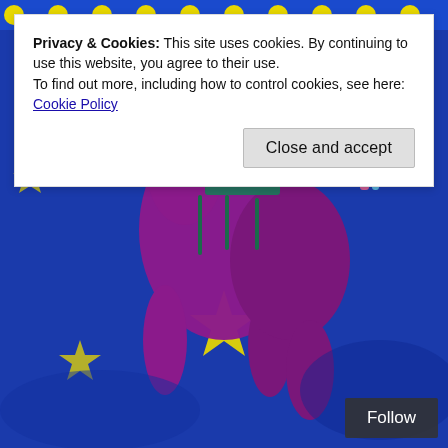[Figure (photo): Top portion of a photo showing a blue fabric with yellow polka dots]
[Figure (photo): A purple/magenta toy dinosaur with decorative accessories, resting on a blue fabric with yellow stars (EU-style flag pattern). The dinosaur has its mouth open showing teeth, and has green and teal ornamental gear on its back.]
Privacy & Cookies: This site uses cookies. By continuing to use this website, you agree to their use.
To find out more, including how to control cookies, see here: Cookie Policy
Close and accept
Follow